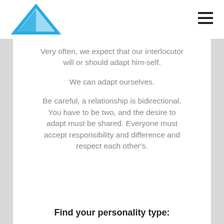[Figure (logo): Blue triangle logo in top left of header]
Very often, we expect that our interlocutor will or should adapt him-self.

We can adapt ourselves.

Be careful, a relationship is bidirectional. You have to be two, and the desire to adapt must be shared. Everyone must accept responsibility and difference and respect each other's.
Find your personality type: